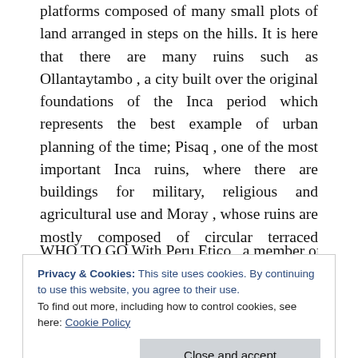platforms composed of many small plots of land arranged in steps on the hills. It is here that there are many ruins such as Ollantaytambo , a city built over the original foundations of the Inca period which represents the best example of urban planning of the time; Pisaq , one of the most important Inca ruins, where there are buildings for military, religious and agricultural use and Moray , whose ruins are mostly composed of circular terraced depressions, the largest of which is 30 meters deep.
WHO TO GO With Peru Etico , a member of the Peru
Privacy & Cookies: This site uses cookies. By continuing to use this website, you agree to their use. To find out more, including how to control cookies, see here: Cookie Policy
sleep in a tent and, besides walking, you travel by